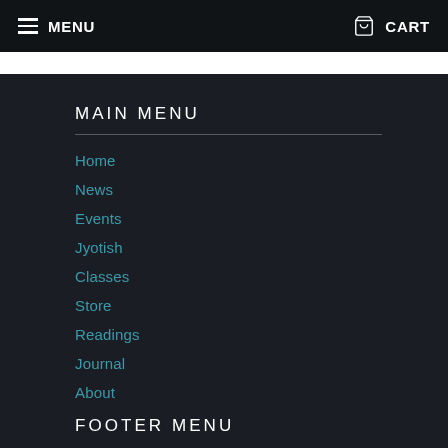MENU   CART
MAIN MENU
Home
News
Events
Jyotish
Classes
Store
Readings
Journal
About
FOOTER MENU